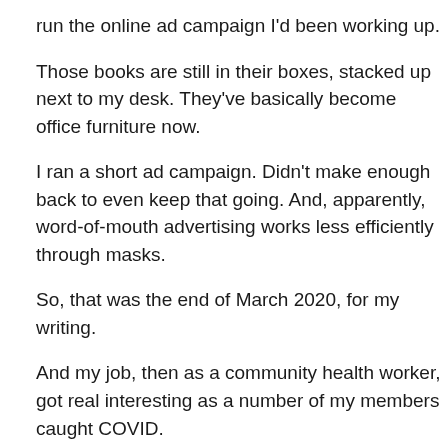run the online ad campaign I'd been working up.
Those books are still in their boxes, stacked up next to my desk. They've basically become office furniture now.
I ran a short ad campaign. Didn't make enough back to even keep that going. And, apparently, word-of-mouth advertising works less efficiently through masks.
So, that was the end of March 2020, for my writing.
And my job, then as a community health worker, got real interesting as a number of my members caught COVID.
Another aside: between talking with medical staff, members, and members' surviving families I can not fathom how anyone can call COVID a hoax. In fact, it really pisses me off when people do.